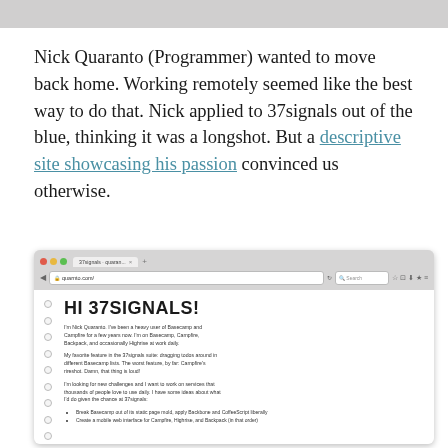Nick Quaranto (Programmer) wanted to move back home. Working remotely seemed like the best way to do that. Nick applied to 37signals out of the blue, thinking it was a longshot. But a descriptive site showcasing his passion convinced us otherwise.
[Figure (screenshot): Browser screenshot of a website titled 'HI 37SIGNALS!' with text about Nick Quaranto describing his experience with Basecamp and Campfire, and bullet points about what he'd do given the chance at 37signals.]